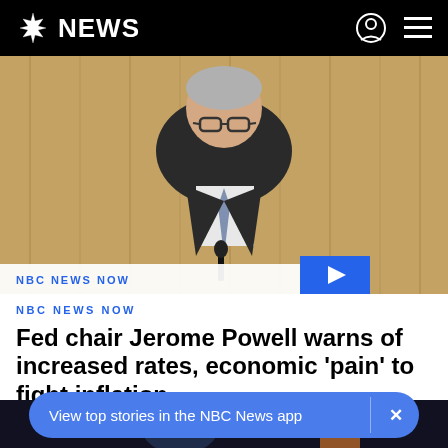NBC NEWS
[Figure (photo): Jerome Powell, Federal Reserve Chair, speaking at a podium in front of a wood-paneled background, wearing a dark suit and blue tie. NBC NEWS NOW label and play button visible in lower portion of image.]
Fed chair Jerome Powell warns of increased rates, economic 'pain' to fight inflation
[Figure (photo): Partial view of a person at a dark venue with flags visible in background.]
View top stories in the NBC News app